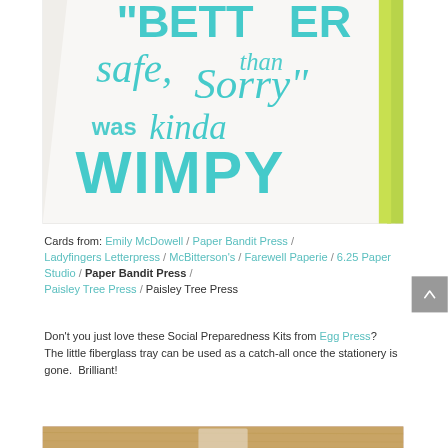[Figure (photo): Close-up photo of a white greeting card with teal/turquoise lettering that reads 'Better safe than sorry was kinda WIMPY'. A lime green stripe is visible on the right edge. The card rests on a light background.]
Cards from:  Emily McDowell / Paper Bandit Press / Ladyfingers Letterpress / McBitterson's / Farewell Paperie / 6.25 Paper Studio / Paper Bandit Press / Paisley Tree Press / Paisley Tree Press
Don't you just love these Social Preparedness Kits from Egg Press?  The little fiberglass tray can be used as a catch-all once the stationery is gone.  Brilliant!
[Figure (photo): Partial photo of what appears to be stationery items on a wooden surface, cropped at the bottom of the page.]